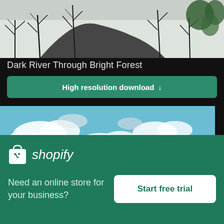[Figure (photo): Aerial/top-down view of a dark river winding through a bright snowy forest with bare trees]
Dark River Through Bright Forest
High resolution download ↓
[Figure (photo): Sky with white clouds and a corner of a yellow/beige European-style building on the right]
[Figure (logo): Shopify logo with shopping bag icon and italic shopify text]
Need an online store for your business?
Start free trial